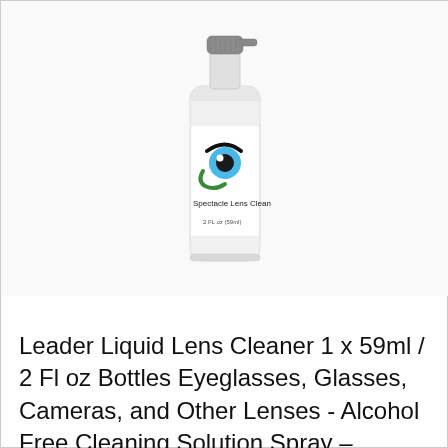[Figure (photo): A small clear spray bottle with a gray pump top, labeled 'Spectacle Lens Clean' with an eye logo featuring blue iris, black pupil, black and green curved lines. Label also shows '2 FL oz (59ml)'. White background.]
Leader Liquid Lens Cleaner 1 x 59ml / 2 Fl oz Bottles Eyeglasses, Glasses, Cameras, and Other Lenses - Alcohol Free Cleaning Solution Spray – Suitable for All Coatings by